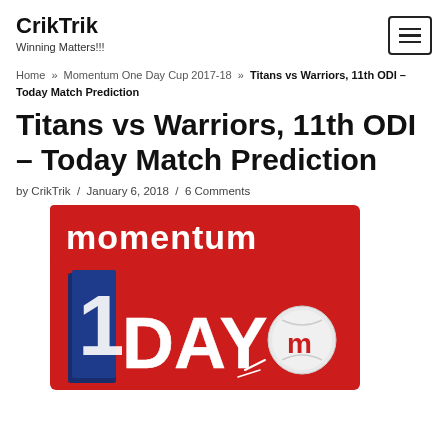CrikTrik
Winning Matters!!!
Home » Momentum One Day Cup 2017-18 » Titans vs Warriors, 11th ODI – Today Match Prediction
Titans vs Warriors, 11th ODI – Today Match Prediction
by CrikTrik / January 6, 2018 / 6 Comments
[Figure (photo): Momentum One Day Cup logo with red background, showing '1 DAY' text in bold with the Momentum 'm' cricket ball logo]